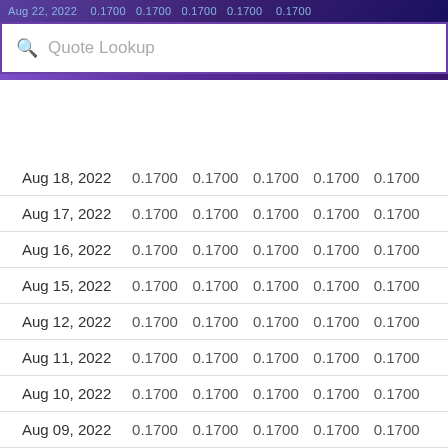Aug 22, 2022  0.1700  0.1700  0.1700  0.1700  0.1700
Quote Lookup
| Date | Col1 | Col2 | Col3 | Col4 | Col5 |  |
| --- | --- | --- | --- | --- | --- | --- |
| Aug 18, 2022 | 0.1700 | 0.1700 | 0.1700 | 0.1700 | 0.1700 |  |
| Aug 17, 2022 | 0.1700 | 0.1700 | 0.1700 | 0.1700 | 0.1700 |  |
| Aug 16, 2022 | 0.1700 | 0.1700 | 0.1700 | 0.1700 | 0.1700 |  |
| Aug 15, 2022 | 0.1700 | 0.1700 | 0.1700 | 0.1700 | 0.1700 |  |
| Aug 12, 2022 | 0.1700 | 0.1700 | 0.1700 | 0.1700 | 0.1700 |  |
| Aug 11, 2022 | 0.1700 | 0.1700 | 0.1700 | 0.1700 | 0.1700 |  |
| Aug 10, 2022 | 0.1700 | 0.1700 | 0.1700 | 0.1700 | 0.1700 |  |
| Aug 09, 2022 | 0.1700 | 0.1700 | 0.1700 | 0.1700 | 0.1700 |  |
| Aug 08, 2022 | 0.1700 | 0.1700 | 0.1700 | 0.1700 | 0.1700 | 6, |
| Aug 05, 2022 | 0.1700 | 0.1700 | 0.1700 | 0.1700 | 0.1700 |  |